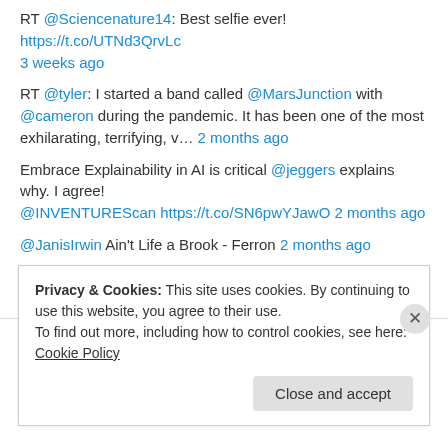RT @Sciencenature14: Best selfie ever! https://t.co/UTNd3QrvLc 3 weeks ago
RT @tyler: I started a band called @MarsJunction with @cameron during the pandemic. It has been one of the most exhilarating, terrifying, v… 2 months ago
Embrace Explainability in AI is critical @jeggers explains why. I agree! @INVENTUREScan https://t.co/SN6pwYJawO 2 months ago
@JanisIrwin Ain't Life a Brook - Ferron 2 months ago
Follow @grokiam
Privacy & Cookies: This site uses cookies. By continuing to use this website, you agree to their use. To find out more, including how to control cookies, see here: Cookie Policy